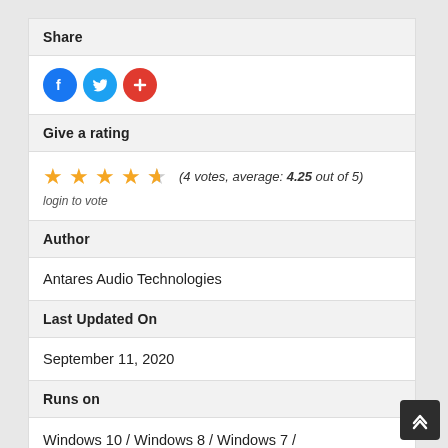Share
[Figure (infographic): Social share icons: Facebook (blue circle with F), Twitter (blue circle with bird), and a red circle with plus sign]
Give a rating
4 stars out of 5 filled (4 votes, average: 4.25 out of 5) login to vote
Author
Antares Audio Technologies
Last Updated On
September 11, 2020
Runs on
Windows 10 / Windows 8 / Windows 7 / Windows Vista / XP